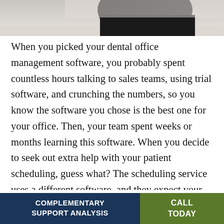[Figure (photo): Partial photo of a person at a desk, likely in a dental or office setting, showing shoulders and dark clothing against a light background]
When you picked your dental office management software, you probably spent countless hours talking to sales teams, using trial software, and crunching the numbers, so you know the software you chose is the best one for your office. Then, your team spent weeks or months learning this software. When you decide to seek out extra help with your patient scheduling, guess what? The scheduling service uses a different software, and they expect your team to convert to this system. It's more than frustrating. It's a waste of time and money. Lucky for you, there's a better option – Dental Support Specialties. We're not your typical
COMPLEMENTARY SUPPORT ANALYSIS   CALL TODAY